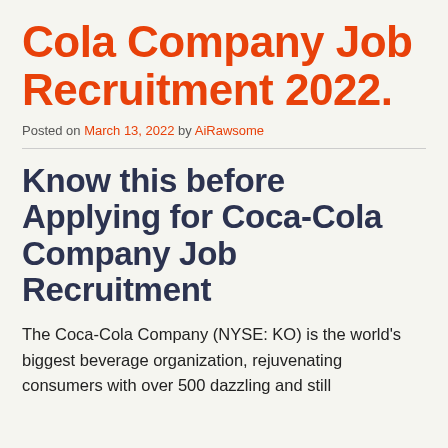Cola Company Job Recruitment 2022.
Posted on March 13, 2022 by AiRawsome
Know this before Applying for Coca-Cola Company Job Recruitment
The Coca-Cola Company (NYSE: KO) is the world's biggest beverage organization, rejuvenating consumers with over 500 dazzling and still